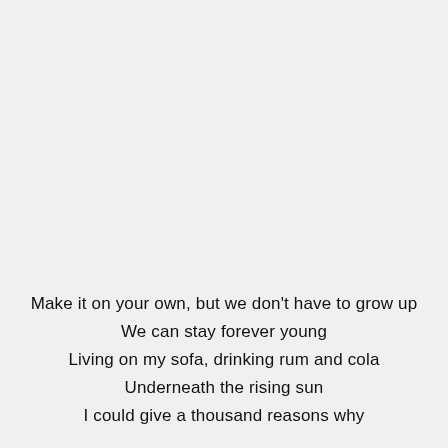Make it on your own, but we don't have to grow up
We can stay forever young
Living on my sofa, drinking rum and cola
Underneath the rising sun
I could give a thousand reasons why